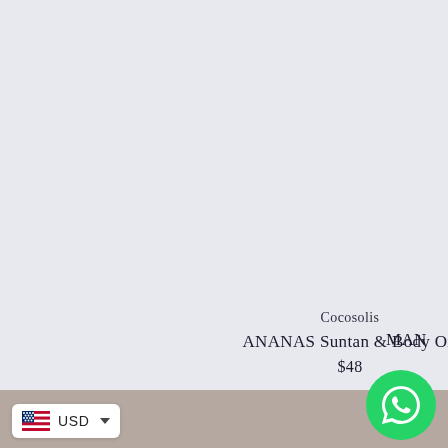[Figure (photo): Product image area with light lavender-gray background, mostly empty product display area]
Cocosolis
ANANAS Suntan & Body Oil
$48
MAN
[Figure (logo): WhatsApp green circular icon with phone handset logo]
USD